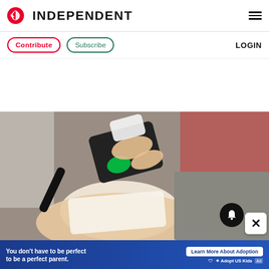INDEPENDENT
[Figure (screenshot): Independent newspaper website header with red eagle logo and hamburger menu]
[Figure (photo): Medical or aesthetic treatment being applied to a person's abdomen with a handheld device emitting green light, placed on a white pad on the skin]
[Figure (infographic): Advertisement banner: 'You don't have to be perfect to be a perfect parent.' with Learn More About Adoption button and Adopt US Kids and HHS logos]